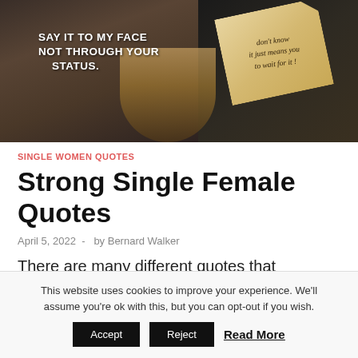[Figure (photo): Dark-toned hero image showing a woman with text overlay reading 'SAY IT TO MY FACE NOT THROUGH YOUR STATUS.' and a torn paper note with handwritten-style text about not knowing and waiting.]
SINGLE WOMEN QUOTES
Strong Single Female Quotes
April 5, 2022  -  by Bernard Walker
There are many different quotes that describe strong single women. Here are
This website uses cookies to improve your experience. We'll assume you're ok with this, but you can opt-out if you wish. Accept Reject Read More